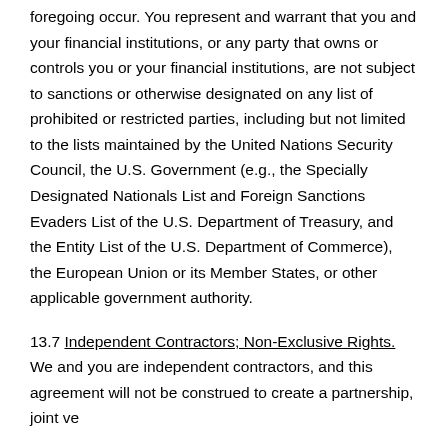foregoing occur. You represent and warrant that you and your financial institutions, or any party that owns or controls you or your financial institutions, are not subject to sanctions or otherwise designated on any list of prohibited or restricted parties, including but not limited to the lists maintained by the United Nations Security Council, the U.S. Government (e.g., the Specially Designated Nationals List and Foreign Sanctions Evaders List of the U.S. Department of Treasury, and the Entity List of the U.S. Department of Commerce), the European Union or its Member States, or other applicable government authority.
13.7 Independent Contractors; Non-Exclusive Rights. We and you are independent contractors, and this agreement will not be construed to create a partnership, joint venture, or other relationship. Neither...